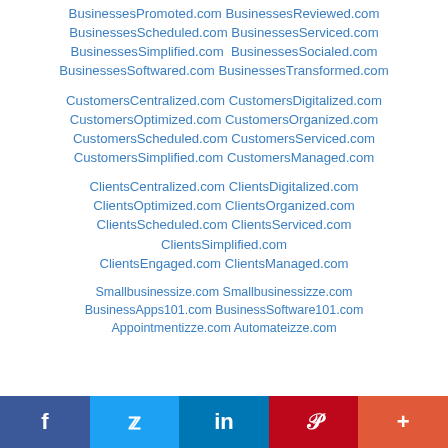BusinessesPromoted.com BusinessesReviewed.com BusinessesScheduled.com BusinessesServiced.com BusinessesSimplified.com BusinessesSocialed.com BusinessesSoftwared.com BusinessesTransformed.com
CustomersCentralized.com CustomersDigitalized.com CustomersOptimized.com CustomersOrganized.com CustomersScheduled.com CustomersServiced.com CustomersSimplified.com CustomersManaged.com
ClientsCentralized.com ClientsDigitalized.com ClientsOptimized.com ClientsOrganized.com ClientsScheduled.com ClientsServiced.com ClientsSimplified.com ClientsEngaged.com ClientsManaged.com
Smallbusinessize.com Smallbusinessizze.com BusinessApps101.com BusinessSoftware101.com Appointmentizze.com Automateizze.com
f  t  in  P  +